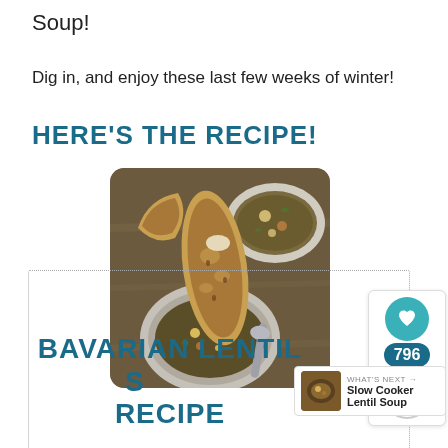Soup!
Dig in, and enjoy these last few weeks of winter!
HERE'S THE RECIPE!
[Figure (photo): Two bowls of lentil soup with a thick slice of bread resting on the rim of one bowl and a spoon, photographed from above on a wooden surface.]
BAVARIAN LENTIL SOUP RECIPE